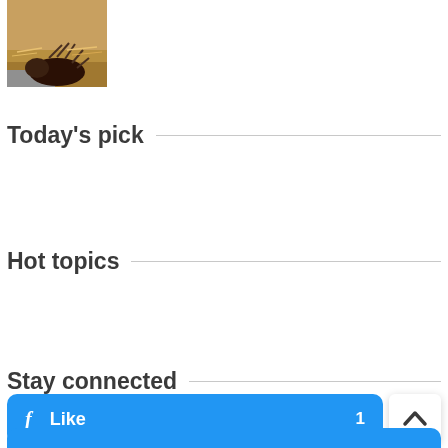[Figure (photo): Small thumbnail photo of an animal (possibly a hedgehog or porcupine) on sandy/straw ground]
Today's pick
Hot topics
Stay connected
[Figure (other): Facebook Like button in blue with 'Like' text and a count number]
[Figure (other): Scroll-to-top button with upward arrow, white rounded square]
[Figure (other): Partial blue rounded button at bottom, likely another social media button]